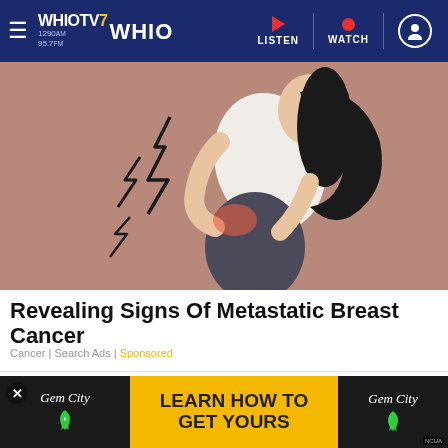WHIO TV 7 | 1290AM 95.7FM WHIO | LISTEN | WATCH
[Figure (illustration): Cartoon illustration of a woman bent over holding her lower back in pain, with lightning bolt symbols indicating pain, on a mauve/brown background]
Revealing Signs Of Metastatic Breast Cancer
Cancer | Search Ads | Sponsored
[Figure (photo): Advertisement banner for Gem City credit union with yellow 'LEARN HOW TO GET YOURS' text on yellow background, flanked by dark panels with Gem City logo and green ribbon icon, NCUA badge visible]